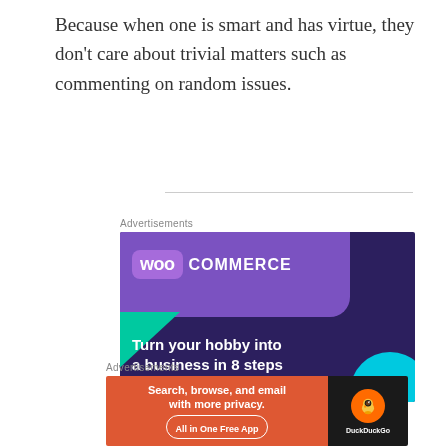Because when one is smart and has virtue, they don't care about trivial matters such as commenting on random issues.
Advertisements
[Figure (screenshot): WooCommerce advertisement banner: dark purple background with purple speech bubble logo, green triangle shape, teal circle, text 'Turn your hobby into a business in 8 steps', and a 'Start a new store' button.]
Advertisements
[Figure (screenshot): DuckDuckGo advertisement banner: orange section with text 'Search, browse, and email with more privacy. All in One Free App' and black section with DuckDuckGo duck logo.]